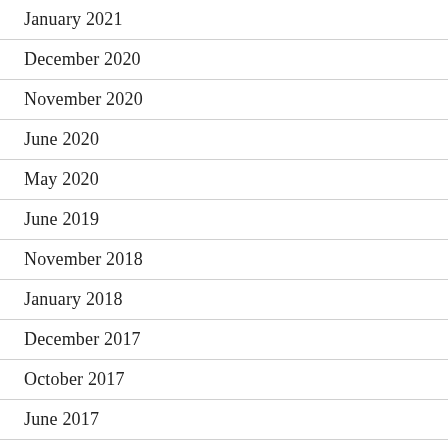January 2021
December 2020
November 2020
June 2020
May 2020
June 2019
November 2018
January 2018
December 2017
October 2017
June 2017